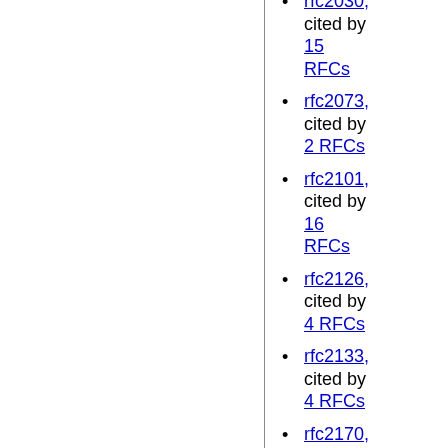rfc2030, cited by 15 RFCs
rfc2073, cited by 2 RFCs
rfc2101, cited by 16 RFCs
rfc2126, cited by 4 RFCs
rfc2133, cited by 4 RFCs
rfc2170, cited by 1 RFC
rfc2307, cited by 7 RFCs
rfc2365, cited by 46 RFCs
rfc2373,